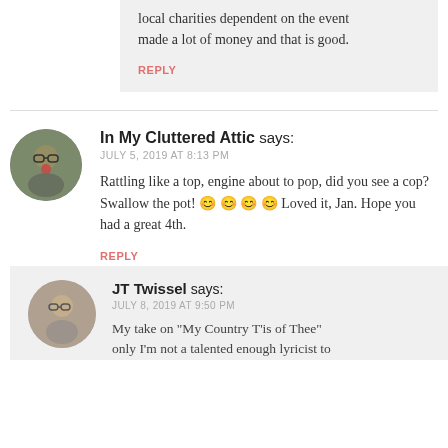local charities dependent on the event made a lot of money and that is good.
REPLY
In My Cluttered Attic says:
JULY 5, 2019 AT 8:13 PM
Rattling like a top, engine about to pop, did you see a cop? Swallow the pot! 😊 😊 😊 😊 Loved it, Jan. Hope you had a great 4th.
REPLY
JT Twissel says:
JULY 8, 2019 AT 9:50 PM
My take on "My Country T'is of Thee" only I'm not a talented enough lyricist to